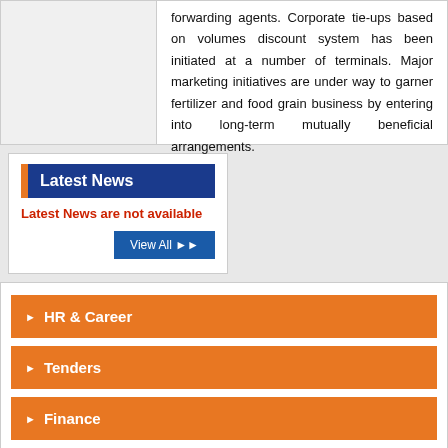forwarding agents. Corporate tie-ups based on volumes discount system has been initiated at a number of terminals. Major marketing initiatives are under way to garner fertilizer and food grain business by entering into long-term mutually beneficial arrangements.
Latest News
Latest News are not available
View All
HR & Career
Tenders
Finance
Vigilance Corner